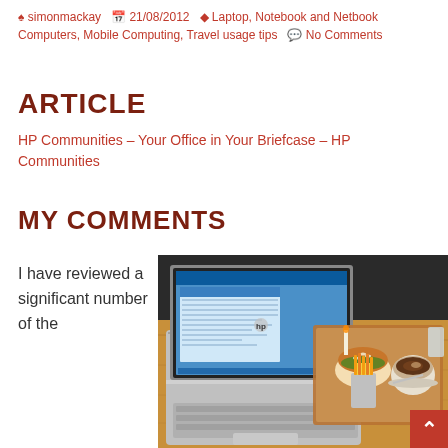simonmackay  21/08/2012  Laptop, Notebook and Netbook Computers, Mobile Computing, Travel usage tips  No Comments
ARTICLE
HP Communities – Your Office in Your Briefcase – HP Communities
MY COMMENTS
I have reviewed a significant number of the
[Figure (photo): Photo of an HP laptop open on a wooden table in a cafe, with a burger and fries in a cup, and a coffee drink beside it. The laptop screen shows a Windows interface.]